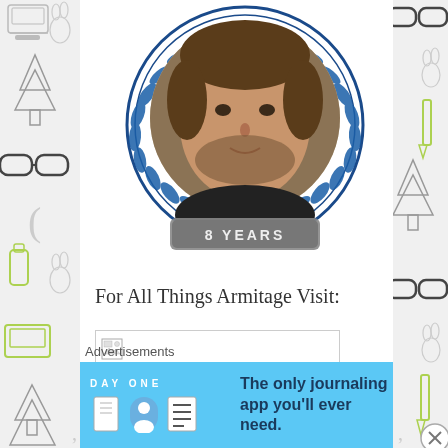[Figure (illustration): Circular badge/award image showing a man's face with dark hair and beard, inside a blue laurel wreath circle, with a grey banner reading '8 YEARS' at the bottom]
For All Things Armitage Visit:
[Figure (other): A rectangular link box with a small broken/loading image icon on the left side]
Advertisements
[Figure (other): Advertisement banner for DAY ONE journaling app with light blue background. Shows 'DAY ONE' text with icons and the text 'The only journaling app you'll ever need.']